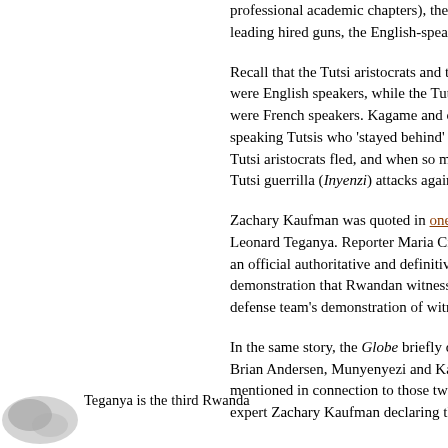professional academic chapters), there leading hired guns, the English-speaki
Recall that the Tutsi aristocrats and th were English speakers, while the Tuts were French speakers. Kagame and co speaking Tutsis who 'stayed behind' i Tutsi aristocrats fled, and when so ma Tutsi guerrilla (Inyenzi) attacks agains
Zachary Kaufman was quoted in one o Leonard Teganya. Reporter Maria Cra an official authoritative and definitive demonstration that Rwandan witnesse defense team's demonstration of witn
In the same story, the Globe briefly di Brian Andersen, Munyenyezi and Ka mentioned in connection to those two expert Zachary Kaufman declaring th
Teganya is the third Rwanda